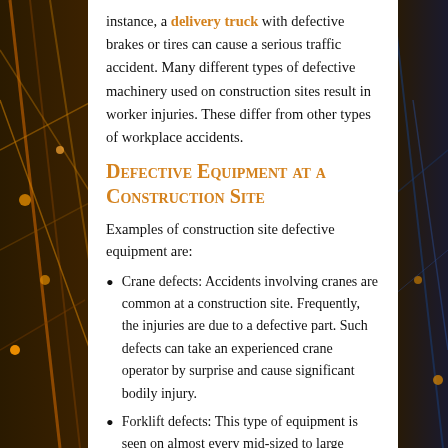instance, a delivery truck with defective brakes or tires can cause a serious traffic accident. Many different types of defective machinery used on construction sites result in worker injuries. These differ from other types of workplace accidents.
Defective Equipment at a Construction Site
Examples of construction site defective equipment are:
Crane defects: Accidents involving cranes are common at a construction site. Frequently, the injuries are due to a defective part. Such defects can take an experienced crane operator by surprise and cause significant bodily injury.
Forklift defects: This type of equipment is seen on almost every mid-sized to large construction site since it is a way to move heavy objects. A defect in the